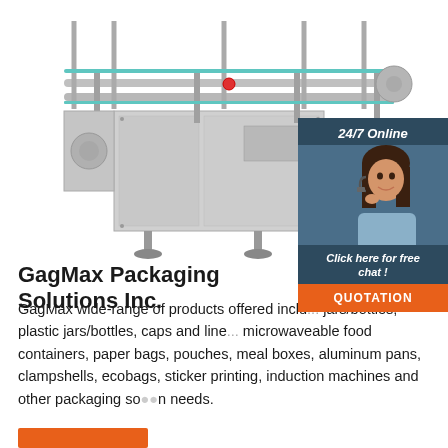[Figure (photo): Industrial stainless steel packaging/labeling machine on white background — a conveyor-style machine with horizontal guide rails and adjustable legs.]
[Figure (infographic): 24/7 Online chat widget with a customer service representative (woman with headset), 'Click here for free chat!' text, and an orange QUOTATION button.]
GagMax Packaging Solutions Inc.
GagMax wide-range of products offered include jars/bottles, plastic jars/bottles, caps and liners, microwaveable food containers, paper bags, pouches, meal boxes, aluminum pans, clampshells, ecobags, sticker printing, induction machines and other packaging solution needs.